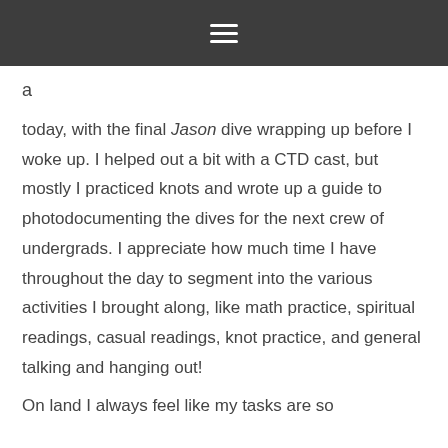☰
a
today, with the final Jason dive wrapping up before I woke up. I helped out a bit with a CTD cast, but mostly I practiced knots and wrote up a guide to photodocumenting the dives for the next crew of undergrads. I appreciate how much time I have throughout the day to segment into the various activities I brought along, like math practice, spiritual readings, casual readings, knot practice, and general talking and hanging out!
On land I always feel like my tasks are so